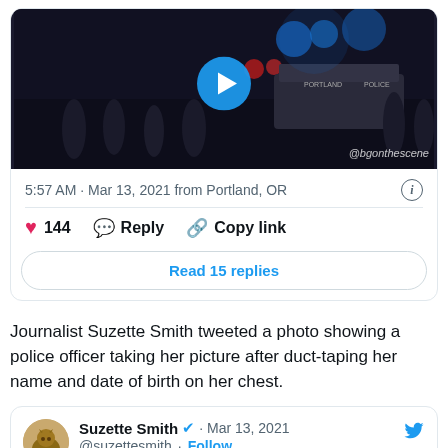[Figure (screenshot): Screenshot of a tweet with a video thumbnail showing nighttime protest scene with police cars, play button overlay, watermark @bgonthescene]
5:57 AM · Mar 13, 2021 from Portland, OR
144  Reply  Copy link
Read 15 replies
Journalist Suzette Smith tweeted a photo showing a police officer taking her picture after duct-taping her name and date of birth on her chest.
[Figure (screenshot): Tweet card by Suzette Smith (@suzettesmith) verified, Mar 13 2021, Replying to @suzettesmith]